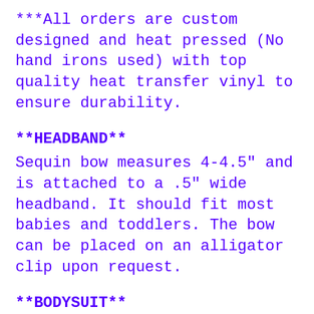***All orders are custom designed and heat pressed (No hand irons used) with top quality heat transfer vinyl to ensure durability.
**HEADBAND**
Sequin bow measures 4-4.5" and is attached to a .5" wide headband. It should fit most babies and toddlers. The bow can be placed on an alligator clip upon request.
**BODYSUIT**